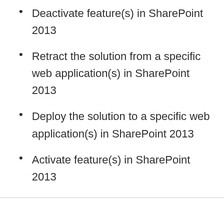Deactivate feature(s) in SharePoint 2013
Retract the solution from a specific web application(s) in SharePoint 2013
Deploy the solution to a specific web application(s) in SharePoint 2013
Activate feature(s) in SharePoint 2013